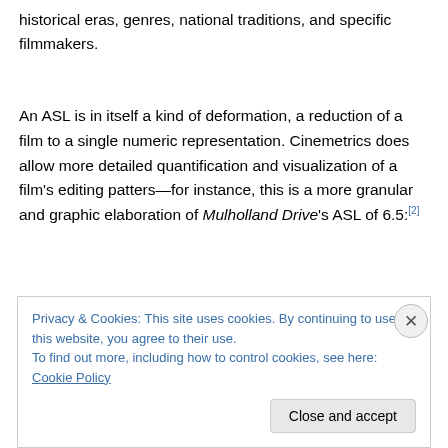historical eras, genres, national traditions, and specific filmmakers.
An ASL is in itself a kind of deformation, a reduction of a film to a single numeric representation. Cinemetrics does allow more detailed quantification and visualization of a film's editing patters—for instance, this is a more granular and graphic elaboration of Mulholland Drive's ASL of 6.5:[2]
Privacy & Cookies: This site uses cookies. By continuing to use this website, you agree to their use. To find out more, including how to control cookies, see here: Cookie Policy